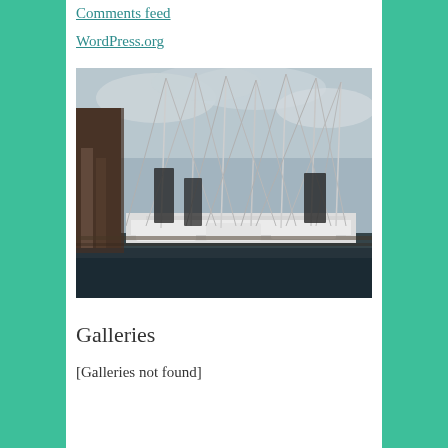Comments feed
WordPress.org
[Figure (photo): A marina with many sailboats moored at a dock, masts visible against a cloudy sky, viewed from a pier with wooden pilings.]
Galleries
[Galleries not found]